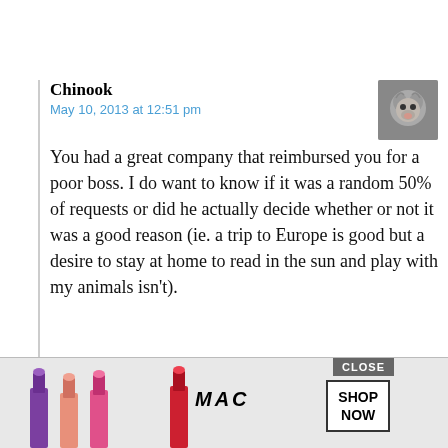Chinook
May 10, 2013 at 12:51 pm
You had a great company that reimbursed you for a poor boss. I do want to know if it was a random 50% of requests or did he actually decide whether or not it was a good reason (ie. a trip to Europe is good but a desire to stay at home to read in the sun and play with my animals isn't).
▼ Collapse 1 reply
Just a Reader
May 10, 2013 at 1:44 pm
It would depend on what he thought be... t you wo... of h...
[Figure (screenshot): MAC Cosmetics advertisement overlay with lipsticks and SHOP NOW button, with CLOSE button in upper right]